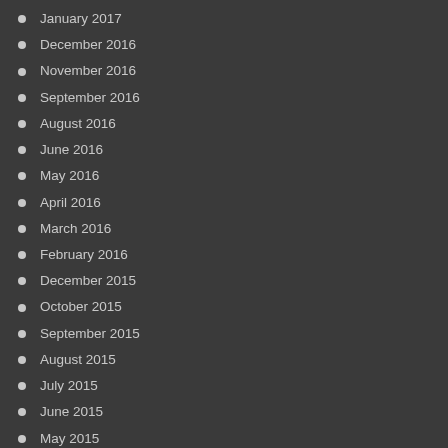January 2017
December 2016
November 2016
September 2016
August 2016
June 2016
May 2016
April 2016
March 2016
February 2016
December 2015
October 2015
September 2015
August 2015
July 2015
June 2015
May 2015
April 2015
March 2015
February 2015